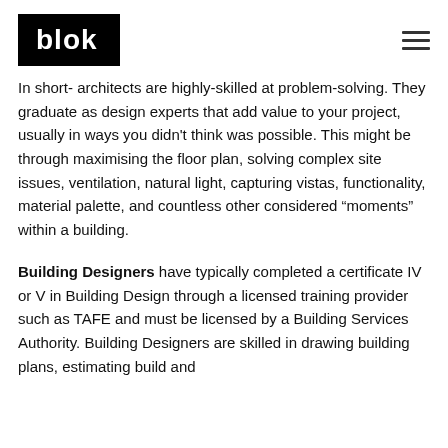blok
In short- architects are highly-skilled at problem-solving. They graduate as design experts that add value to your project, usually in ways you didn't think was possible. This might be through maximising the floor plan, solving complex site issues, ventilation, natural light, capturing vistas, functionality, material palette, and countless other considered “moments” within a building.
Building Designers have typically completed a certificate IV or V in Building Design through a licensed training provider such as TAFE and must be licensed by a Building Services Authority. Building Designers are skilled in drawing building plans, estimating build and